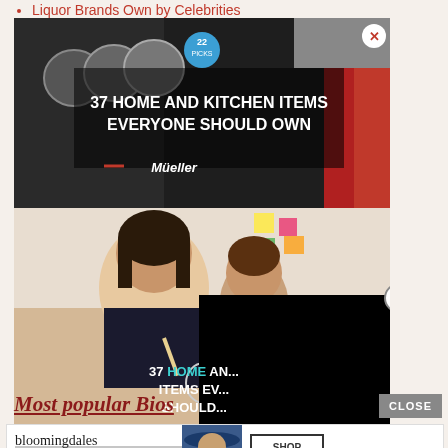Liquor Brands Own by Celebrities
[Figure (screenshot): Advertisement banner for Mueller kitchen items: '37 HOME AND KITCHEN ITEMS EVERYONE SHOULD OWN' with dark background, kitchen tools, Mueller logo, and a badge saying '22', with a close X button in the top-right.]
[Figure (screenshot): Expanded advertisement showing a woman and child cooking, with text '37 HOME AND KITCHEN ITEMS EVERYONE SHOULD OWN' and a large black overlay covering the right portion. A close button (X in circle) visible on the right edge.]
Most popular Bios
CLOSE
[Figure (screenshot): Bloomingdale's banner advertisement showing logo, 'View Today's Top Deals!' text, a model with a wide-brim hat, and a 'SHOP NOW >' button.]